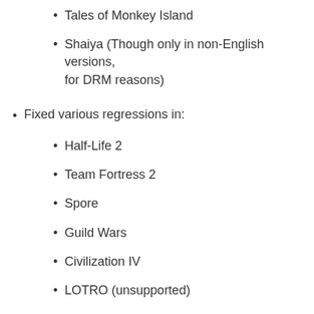Tales of Monkey Island
Shaiya (Though only in non-English versions, for DRM reasons)
Fixed various regressions in:
Half-Life 2
Team Fortress 2
Spore
Guild Wars
Civilization IV
LOTRO (unsupported)
EVE (unsupported)
Pharaoh (unsupported)
City of Heroes (unsupported)